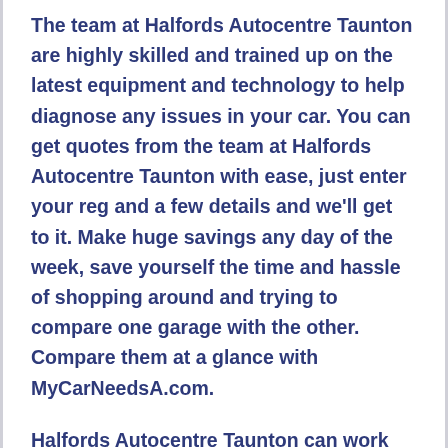The team at Halfords Autocentre Taunton are highly skilled and trained up on the latest equipment and technology to help diagnose any issues in your car. You can get quotes from the team at Halfords Autocentre Taunton with ease, just enter your reg and a few details and we'll get to it. Make huge savings any day of the week, save yourself the time and hassle of shopping around and trying to compare one garage with the other. Compare them at a glance with MyCarNeedsA.com.
Halfords Autocentre Taunton can work on all cars no matter the make from Abarth to a